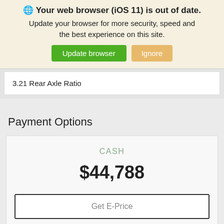🌐 Your web browser (iOS 11) is out of date. Update your browser for more security, speed and the best experience on this site.
Update browser
Ignore
3.21 Rear Axle Ratio
Payment Options
CASH
$44,788
Get E-Price